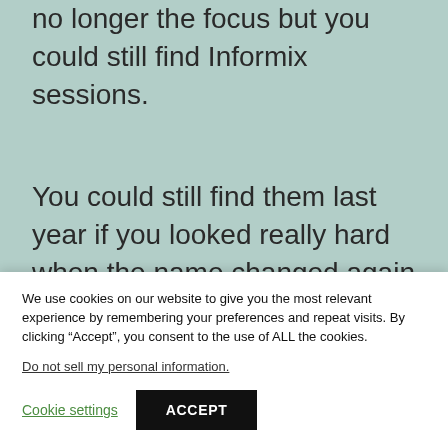no longer the focus but you could still find Informix sessions.
You could still find them last year if you looked really hard when the name changed again to World of Watson. Since 2005 the best Informix gathering is the IIUG conference which took place in the April-May timeframe. For the first 3
We use cookies on our website to give you the most relevant experience by remembering your preferences and repeat visits. By clicking “Accept”, you consent to the use of ALL the cookies.
Do not sell my personal information.
Cookie settings
ACCEPT